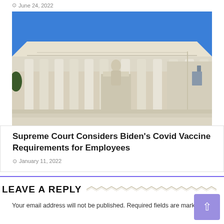June 24, 2022
[Figure (photo): Exterior low-angle view of the United States Supreme Court building, showing tall white marble columns and a classical statue seated on a pedestal against a blue sky.]
Supreme Court Considers Biden's Covid Vaccine Requirements for Employees
January 11, 2022
LEAVE A REPLY
Your email address will not be published. Required fields are marked *